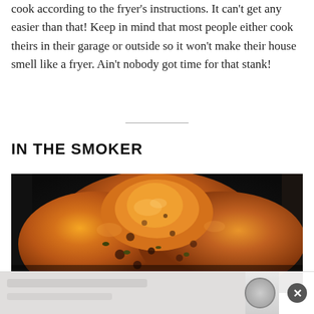cook according to the fryer's instructions. It can't get any easier than that! Keep in mind that most people either cook theirs in their garage or outside so it won't make their house smell like a fryer. Ain't nobody got time for that stank!
IN THE SMOKER
[Figure (photo): Close-up photo of a smoked/roasted whole chicken with golden-brown, herb-seasoned crispy skin, taken from above at a slight angle.]